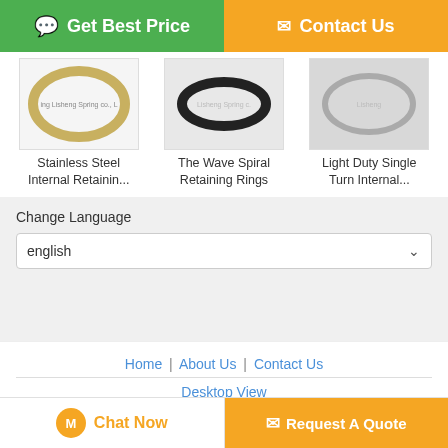[Figure (other): Get Best Price button (green) and Contact Us button (orange) at the top of the page]
[Figure (photo): Stainless Steel Internal Retaining Ring product image - oval ring shape]
Stainless Steel Internal Retainin...
[Figure (photo): The Wave Spiral Retaining Rings product image - dark oval ring]
The Wave Spiral Retaining Rings
[Figure (photo): Light Duty Single Turn Internal... product image - gray oval ring]
Light Duty Single Turn Internal...
Change Language
english
Home | About Us | Contact Us
Desktop View
China heavy duty snap ring pliers Supplier. Copyright © 2017 - 2022 spiral-retainingring.com.
All rights reserved. Developed by ECER
[Figure (other): Chat Now button (white with orange text) and Request A Quote button (orange) at the bottom]